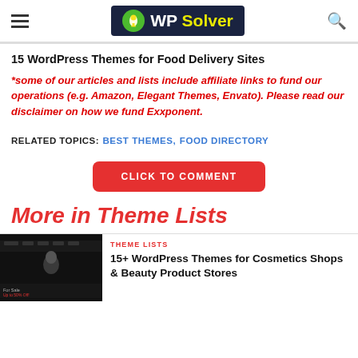WP Solver
15 WordPress Themes for Food Delivery Sites
*some of our articles and lists include affiliate links to fund our operations (e.g. Amazon, Elegant Themes, Envato). Please read our disclaimer on how we fund Exxponent.
RELATED TOPICS: BEST THEMES, FOOD DIRECTORY
CLICK TO COMMENT
More in Theme Lists
THEME LISTS
15+ WordPress Themes for Cosmetics Shops & Beauty Product Stores